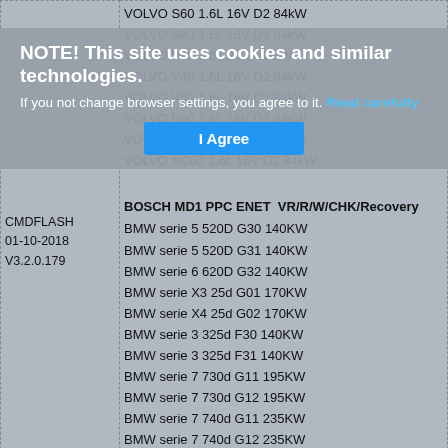| Software | Vehicles |
| --- | --- |
|  | VOLVO S60 1.6L 16V D2 84kW |
|  | VOLVO S80 1.6L 16V D2 84kW |
|  | VOLVO V40 1.6L 8V D 84kW |
|  | VOLVO V40 1.6L 16V D2 84kW |
|  | VOLVO V50 1.6L 16V D2 84kW |
|  | VOLVO V60 1.6L 16V D2 84kW |
| CMDFLASH
01-10-2018
V3.2.0.179 | VOLVO V70 1.6L 16V D2 84kW |
|  | VOLVO XC60 1.6L 16V D2 84kW |
|  |  |
|  | BOSCH MD1 PPC ENET  VR/R/W/CHK/Recovery |
|  | BMW serie 5 520D G30 140KW |
|  | BMW serie 5 520D G31 140KW |
|  | BMW serie 6 620D G32 140KW |
|  | BMW serie X3 25d G01 170KW |
|  | BMW serie X4 25d G02 170KW |
|  | BMW serie 3 325d F30 140KW |
|  | BMW serie 3 325d F31 140KW |
|  | BMW serie 7 730d G11 195KW |
|  | BMW serie 7 730d G12 195KW |
|  | BMW serie 7 740d G11 235KW |
|  | BMW serie 7 740d G12 235KW |
|  |  |
|  | OBD |
NOTE! This site uses cookies and similar technologies.
If you not change browser settings, you agree to it. Read carefully
[I Agree]